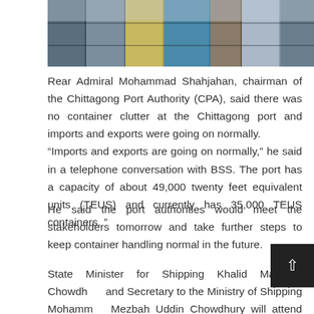[Figure (photo): Photograph of stacked shipping containers at a port, showing rows of colorful metal containers from close range.]
Rear Admiral Mohammad Shahjahan, chairman of the Chittagong Port Authority (CPA), said there was no container clutter at the Chittagong port and imports and exports were going on normally.
“Imports and exports are going on normally,” he said in a telephone conversation with BSS. The port has a capacity of about 49,000 twenty feet equivalent units (TEUS) and currently has 35,000 TEUS containers. ”
He said the port authorities would meet the stakeholders tomorrow and take further steps to keep container handling normal in the future.
State Minister for Shipping Khalid Mahmud Chowdhury and Secretary to the Ministry of Shipping Mohammad Mezbah Uddin Chowdhury will attend the meeting.